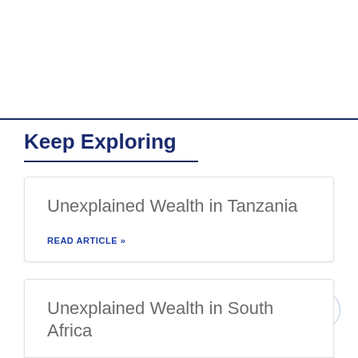Keep Exploring
Unexplained Wealth in Tanzania
READ ARTICLE »
Unexplained Wealth in South Africa